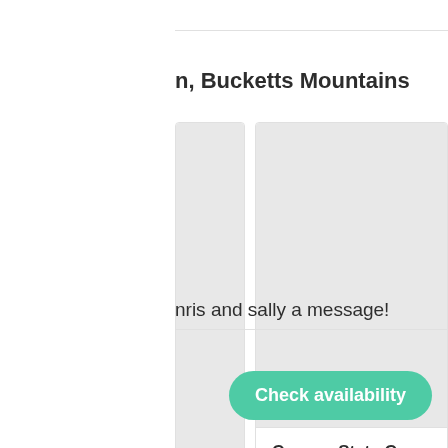n, Bucketts Mountains
[Figure (screenshot): Card with grey image placeholder (left, partially cropped)]
[Figure (screenshot): Card with grey image placeholder (right), titled 'Coneac State Conservati', '14 miles away Explore']
nris and sally a message!
Check availability